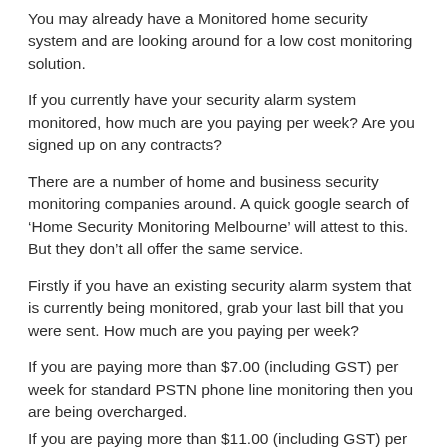You may already have a Monitored home security system and are looking around for a low cost monitoring solution.
If you currently have your security alarm system monitored, how much are you paying per week? Are you signed up on any contracts?
There are a number of home and business security monitoring companies around. A quick google search of ‘Home Security Monitoring Melbourne’ will attest to this. But they don’t all offer the same service.
Firstly if you have an existing security alarm system that is currently being monitored, grab your last bill that you were sent. How much are you paying per week?
If you are paying more than $7.00 (including GST) per week for standard PSTN phone line monitoring then you are being overcharged.
If you are paying more than $11.00 (including GST) per week for GPRS monitoring then you are also being overcharged.